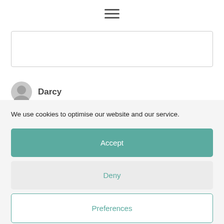[Figure (screenshot): Hamburger menu icon (three horizontal lines) centered at top of page]
[Figure (screenshot): Partial input/text box with border, partially visible at top]
[Figure (screenshot): Partial user avatar (grey circle) and bold name 'Darcy' partially visible]
We use cookies to optimise our website and our service.
Accept
Deny
Preferences
Cookie Policy   Privacy Policy